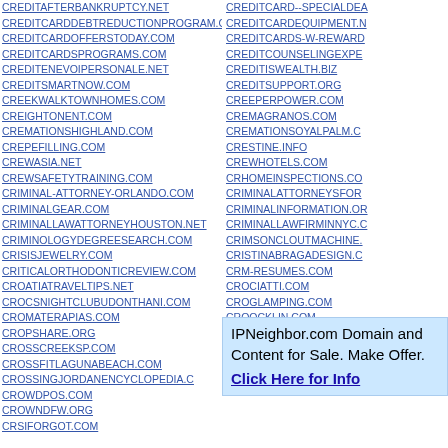CREDITAFTERBANKRUPTCY.NET
CREDITCARDDEBTREDUCTIONPROGRAM.COM
CREDITCARDOFFERSTODAY.COM
CREDITCARDSPROGRAMS.COM
CREDITENEVOIPERSONALE.NET
CREDITSMARTNOW.COM
CREEKWALKTOWNHOMES.COM
CREIGHTONENT.COM
CREMATIONSHIGHLAND.COM
CREPEFILLING.COM
CREWASIA.NET
CREWSAFETYTRAINING.COM
CRIMINAL-ATTORNEY-ORLANDO.COM
CRIMINALGEAR.COM
CRIMINALLAWATTORNEYHOUSTON.NET
CRIMINOLOGYDEGREESEARCH.COM
CRISISJEWELRY.COM
CRITICALORTHODONTICREVIEW.COM
CROATIATRAVELTIPS.NET
CROCSNIGHTCLUBUDONTHANI.COM
CROMATERAPIAS.COM
CROPSHARE.ORG
CROSSCREEKSP.COM
CROSSFITLAGUNABEACH.COM
CROSSINGJORDANENCYCLOPEDIA.C…
CROWDPOS.COM
CROWNDFW.ORG
CRSIFORGOT.COM
CREDITCARD--SPECIALDEA…
CREDITCARDEQUIPMENT.N…
CREDITCARDS-W-REWARD…
CREDITCOUNSELINGEXPE…
CREDITISWEALTH.BIZ
CREDITSUPPORT.ORG
CREEPERPOWER.COM
CREMAGRANOS.COM
CREMATIONSOYALPALM.C…
CRESTINE.INFO
CREWHOTELS.COM
CRHOMEINSPECTIONS.CO…
CRIMINALATTORNEYSFOR…
CRIMINALINFORMATION.OR…
CRIMINALLAWFIRMINNYC.C…
CRIMSONCLOUTMACHINE.…
CRISTINABRAGADESIGN.C…
CRM-RESUMES.COM
CROCIATTI.COM
CROGLAMPING.COM
CROOCKLIN.COM
CROQUETON.ORG
CROSSEDANDTHEFEATHE…
IPNeighbor.com Domain and Content for Sale. Make Offer. Click Here for Info